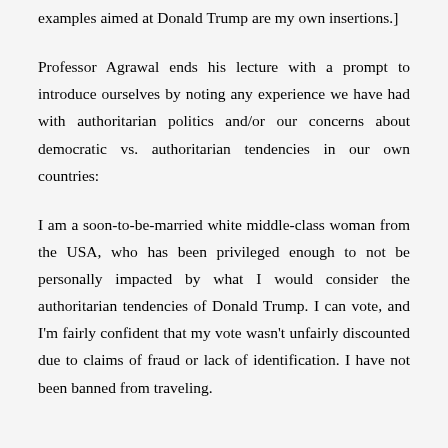examples aimed at Donald Trump are my own insertions.]
Professor Agrawal ends his lecture with a prompt to introduce ourselves by noting any experience we have had with authoritarian politics and/or our concerns about democratic vs. authoritarian tendencies in our own countries:
I am a soon-to-be-married white middle-class woman from the USA, who has been privileged enough to not be personally impacted by what I would consider the authoritarian tendencies of Donald Trump. I can vote, and I’m fairly confident that my vote wasn’t unfairly discounted due to claims of fraud or lack of identification. I have not been banned from traveling.